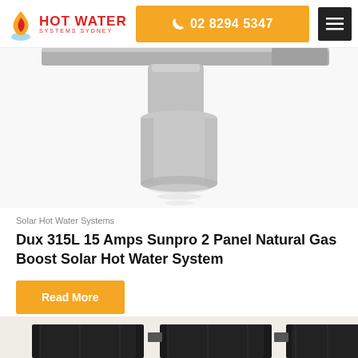HOT WATER SYSTEMS SYDNEY | 02 8294 5347
[Figure (photo): Solar hot water system tank/cylinder unit, grey cylindrical tank with mounting hardware, top portion cropped, on white background]
Solar Hot Water Systems
Dux 315L 15 Amps Sunpro 2 Panel Natural Gas Boost Solar Hot Water System
Read More
[Figure (photo): Bottom portion of solar collector panels, dark/black panels partially visible at bottom of page]